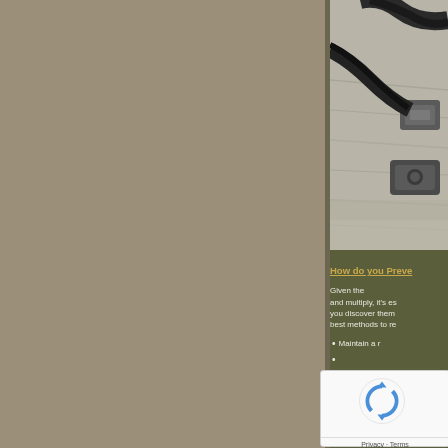[Figure (photo): Close-up photo of what appears to be plumbing or gas pipe fittings/connections on a wooden surface, partially visible on the right side of the page]
How do you Preve
Given the and multiply, it's es you discover them best methods to re
Maintain a r
Fix or replac
Seal externo